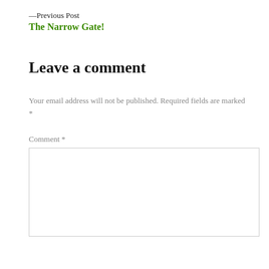—Previous Post
The Narrow Gate!
Leave a comment
Your email address will not be published. Required fields are marked *
Comment *